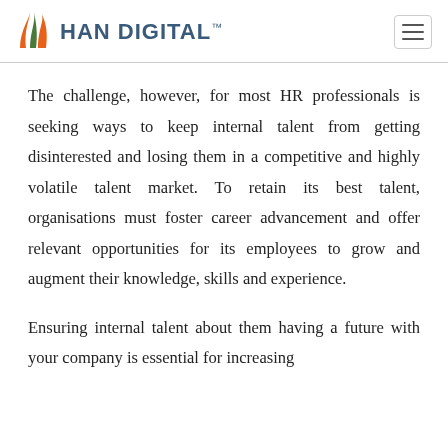HAN DIGITAL
The challenge, however, for most HR professionals is seeking ways to keep internal talent from getting disinterested and losing them in a competitive and highly volatile talent market. To retain its best talent, organisations must foster career advancement and offer relevant opportunities for its employees to grow and augment their knowledge, skills and experience.
Ensuring internal talent about them having a future with your company is essential for increasing